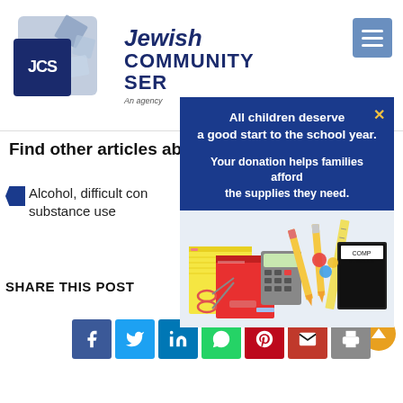[Figure (logo): Jewish Community Services (JCS) logo with blue squares, diamond shapes, and organization name]
[Figure (infographic): Popup modal with dark blue background. Text: 'All children deserve a good start to the school year. Your donation helps families afford the supplies they need.' Below is an illustration of school supplies including pencils, notebooks, rulers, calculator, crayons.]
Find other articles abo
Alcohol, difficult con... substance use
SHARE THIS POST
[Figure (infographic): Row of social share buttons: Facebook (dark blue), Twitter (light blue), LinkedIn (blue), WhatsApp (green), Pinterest (red), Email (dark red), Print (gray). Gold scroll-to-top circle button on right.]